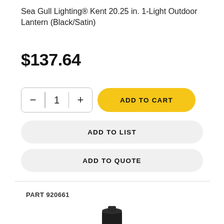Sea Gull Lighting® Kent 20.25 in. 1-Light Outdoor Lantern (Black/Satin)
$137.64
[Figure (infographic): Quantity selector with minus and plus buttons showing value 1, and a yellow ADD TO CART button]
[Figure (infographic): ADD TO LIST button (light grey pill shape)]
[Figure (infographic): ADD TO QUOTE button (light grey pill shape)]
PART 920661
[Figure (photo): Partial photo of a black outdoor lantern fixture (top portion visible)]